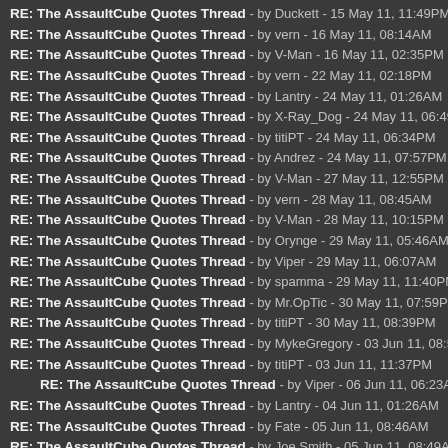RE: The AssaultCube Quotes Thread - by Duckett - 15 May 11, 11:49PM
RE: The AssaultCube Quotes Thread - by vern - 16 May 11, 08:14AM
RE: The AssaultCube Quotes Thread - by V-Man - 16 May 11, 02:35PM
RE: The AssaultCube Quotes Thread - by vern - 22 May 11, 02:18PM
RE: The AssaultCube Quotes Thread - by Lantry - 24 May 11, 01:26AM
RE: The AssaultCube Quotes Thread - by X-Ray_Dog - 24 May 11, 06:49AM
RE: The AssaultCube Quotes Thread - by titiPT - 24 May 11, 06:34PM
RE: The AssaultCube Quotes Thread - by Andrez - 24 May 11, 07:57PM
RE: The AssaultCube Quotes Thread - by V-Man - 27 May 11, 12:55PM
RE: The AssaultCube Quotes Thread - by vern - 28 May 11, 08:45AM
RE: The AssaultCube Quotes Thread - by V-Man - 28 May 11, 10:15PM
RE: The AssaultCube Quotes Thread - by Orynge - 29 May 11, 05:46AM
RE: The AssaultCube Quotes Thread - by Viper - 29 May 11, 06:07AM
RE: The AssaultCube Quotes Thread - by spamma - 29 May 11, 11:40PM
RE: The AssaultCube Quotes Thread - by Mr.OpTic - 30 May 11, 07:59PM
RE: The AssaultCube Quotes Thread - by titiPT - 30 May 11, 08:39PM
RE: The AssaultCube Quotes Thread - by MykeGregory - 03 Jun 11, 08:56PM
RE: The AssaultCube Quotes Thread - by titiPT - 03 Jun 11, 11:37PM
RE: The AssaultCube Quotes Thread - by Viper - 06 Jun 11, 06:23AM
RE: The AssaultCube Quotes Thread - by Lantry - 04 Jun 11, 01:26AM
RE: The AssaultCube Quotes Thread - by Fate - 05 Jun 11, 08:46AM
RE: The AssaultCube Quotes Thread - by Joe Smith - 05 Jun 11, 08:49AM
RE: The AssaultCube Quotes Thread - by jamz - 05 Jun 11, 09:47PM
RE: The AssaultCube Quotes Thread - by Lantry - 06 Jun 11, 05:16AM
RE: The AssaultCube Quotes Thread - by ...